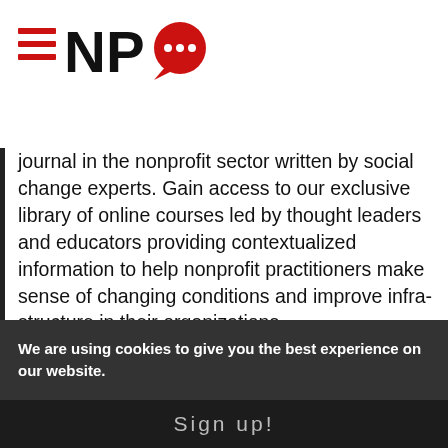[Figure (logo): NPQ logo with hamburger menu icon, letters NP and red speech bubble Q]
journal in the nonprofit sector written by social change experts. Gain access to our exclusive library of online courses led by thought leaders and educators providing contextualized information to help nonprofit practitioners make sense of changing conditions and improve infra-structure in their organizations.
[Figure (other): JOIN TODAY button in dark red/maroon rounded rectangle]
[Figure (other): Payment icons row: VISA, MasterCard, American Express, Discover, PayPal]
We are using cookies to give you the best experience on our website.
Sign up!